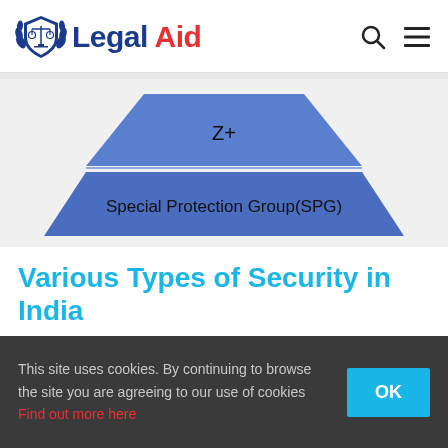Legal Aid
[Figure (infographic): Pyramid diagram showing security tiers: Z+ at top, Special Protection Group (SPG) at bottom tier]
Various Types of Security in India
In #India security is provided to some high risk individuals by government and police and it depends on the threat
This site uses cookies. By continuing to browse the site you are agreeing to our use of cookies Find out more here